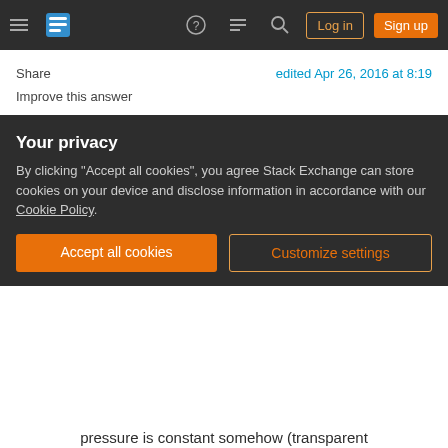Stack Exchange navigation bar with hamburger menu, logo, help, chat, search icons, Log in and Sign up buttons
Share
Improve this answer
Follow
edited Apr 26, 2016 at 8:19
answered Apr 26, 2016 at 7:24
Separatrix 114k ● 38 ● 253 ● 436
Add a comment
So, since the question does not address some vital issues, I'll make stated assumptions of my own to
Your privacy
By clicking "Accept all cookies", you agree Stack Exchange can store cookies on your device and disclose information in accordance with our Cookie Policy.
Accept all cookies
Customize settings
pressure is constant somehow (transparent